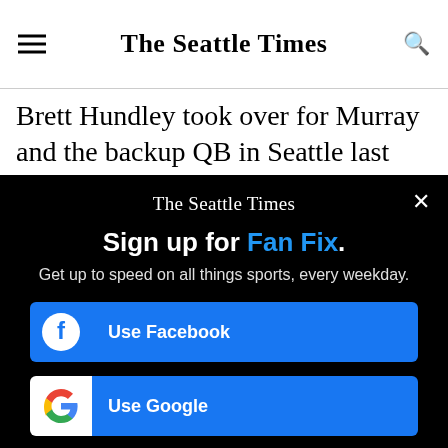The Seattle Times
Brett Hundley took over for Murray and the backup QB in Seattle last year led Arizona on a key scoring
The Seattle Times
Sign up for Fan Fix.
Get up to speed on all things sports, every weekday.
Use Facebook
Use Google
Your email address
Sign up
By signing up you are agreeing to our Privacy Policy and Terms of Service.